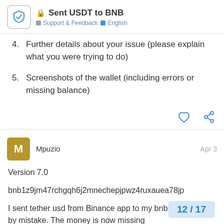Sent USDT to BNB — Support & Feedback | English
4. Further details about your issue (please explain what you were trying to do)
5. Screenshots of the wallet (including errors or missing balance)
Mpuzio  Apr 3
Version 7.0
bnb1z9jm47rchgqh6j2mnechepjpwz4ruxauea78jp
I sent tether usd from Binance app to my bnb trust wallet by mistake. The money is now missing
12 / 17